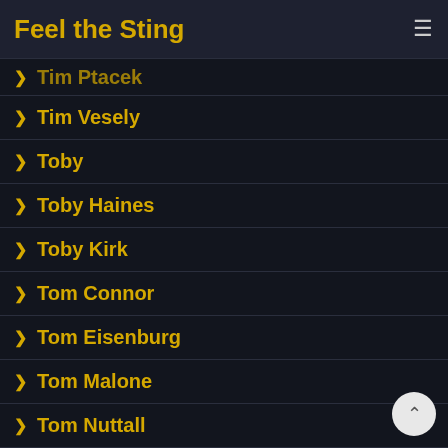Feel the Sting
Tim Ptacek
Tim Vesely
Toby
Toby Haines
Toby Kirk
Tom Connor
Tom Eisenburg
Tom Malone
Tom Nuttall
Tomas Solek
Tommy Hunter
Tommy Martin